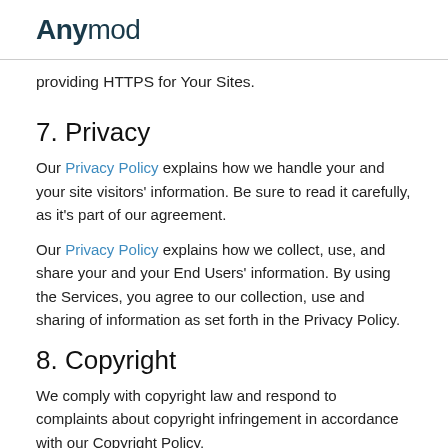Anymod
providing HTTPS for Your Sites.
7. Privacy
Our Privacy Policy explains how we handle your and your site visitors' information. Be sure to read it carefully, as it's part of our agreement.
Our Privacy Policy explains how we collect, use, and share your and your End Users' information. By using the Services, you agree to our collection, use and sharing of information as set forth in the Privacy Policy.
8. Copyright
We comply with copyright law and respond to complaints about copyright infringement in accordance with our Copyright Policy.